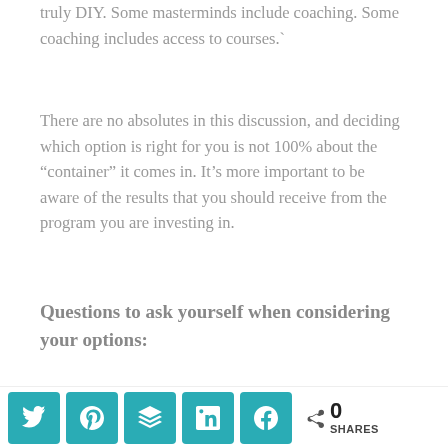truly DIY. Some masterminds include coaching. Some coaching includes access to courses.`
There are no absolutes in this discussion, and deciding which option is right for you is not 100% about the “container” it comes in. It’s more important to be aware of the results that you should receive from the program you are investing in.
Questions to ask yourself when considering your options:
What do you want to achieve?